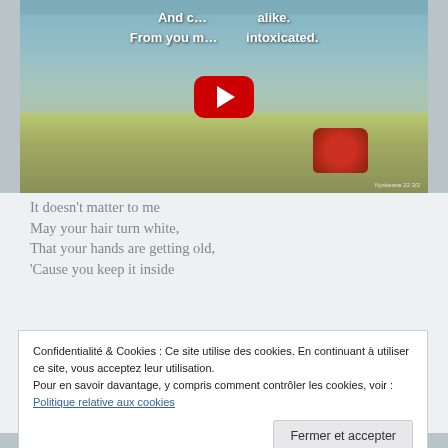[Figure (screenshot): YouTube video thumbnail showing a coastal landscape with water, green shore, red flowers, and overlaid white text reading 'And c... alike. From you m... intoxicated.' with a YouTube play button in the center.]
It doesn't matter to me
May your hair turn white,
That your hands are getting old,
'Cause you keep it inside
Everything I liked
Confidentialité & Cookies : Ce site utilise des cookies. En continuant à utiliser ce site, vous acceptez leur utilisation.
Pour en savoir davantage, y compris comment contrôler les cookies, voir :
Politique relative aux cookies
Let the days go by...